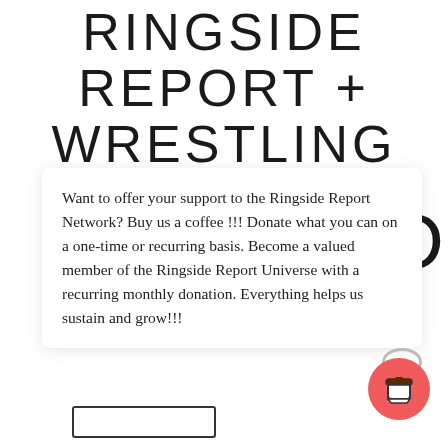RINGSIDE REPORT + WRESTLING
Want to offer your support to the Ringside Report Network? Buy us a coffee !!! Donate what you can on a one-time or recurring basis. Become a valued member of the Ringside Report Universe with a recurring monthly donation. Everything helps us sustain and grow!!!
[Figure (illustration): Red circular coffee cup button with grey handle arc above, representing a 'Buy Me a Coffee' donation widget]